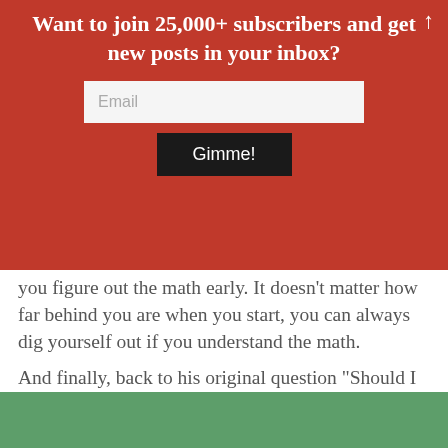Want to join 25,000+ subscribers and get new posts in your inbox?
you figure out the math early. It doesn’t matter how far behind you are when you start, you can always dig yourself out if you understand the math.
And finally, back to his original question “Should I become a manwhore?”
I think I speak on behalf of the entire Internet when I say…
[Figure (photo): Green background image at bottom of page, partially visible]